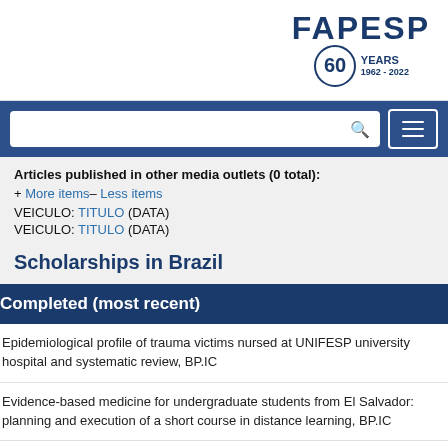[Figure (logo): FAPESP 60 Years 1962-2022 logo]
Articles published in other media outlets (0 total):
+ More items–  Less items
VEICULO: TITULO (DATA)
VEICULO: TITULO (DATA)
Scholarships in Brazil
Completed (most recent)
Epidemiological profile of trauma victims nursed at UNIFESP university hospital and systematic review, BP.IC
Evidence-based medicine for undergraduate students from El Salvador: planning and execution of a short course in distance learning, BP.IC
Publication bia in clinical trials — a systematic Me...